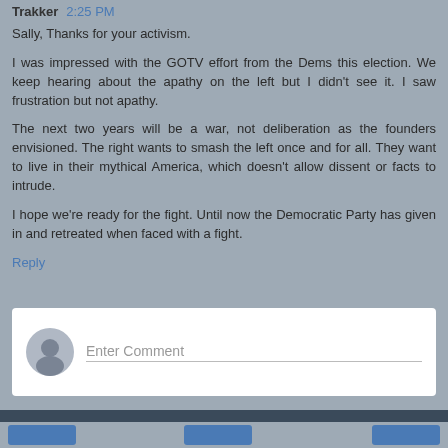Trakker 2:25 PM
Sally, Thanks for your activism.

I was impressed with the GOTV effort from the Dems this election. We keep hearing about the apathy on the left but I didn't see it. I saw frustration but not apathy.

The next two years will be a war, not deliberation as the founders envisioned. The right wants to smash the left once and for all. They want to live in their mythical America, which doesn't allow dissent or facts to intrude.

I hope we're ready for the fight. Until now the Democratic Party has given in and retreated when faced with a fight.
Reply
[Figure (other): Comment input box with user avatar icon and 'Enter Comment' placeholder text field]